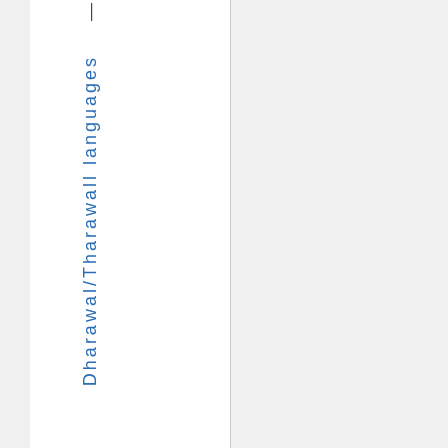— Dharawal/Tharawall languages